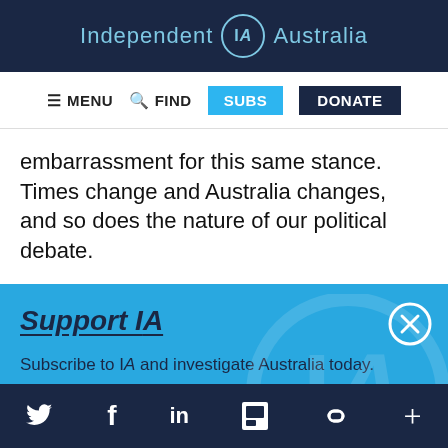Independent IA Australia
≡ MENU  🔍 FIND  SUBS  DONATE
embarrassment for this same stance. Times change and Australia changes, and so does the nature of our political debate.
Support IA
Subscribe to IA and investigate Australia today.
Close  Subscribe  Donate
Twitter  Facebook  LinkedIn  Flipboard  Link  Plus